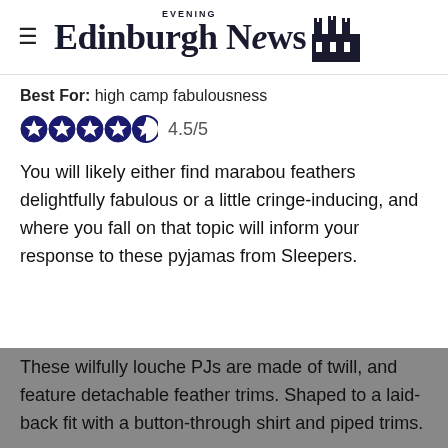Edinburgh Evening News
Best For: high camp fabulousness
4.5/5 (star rating)
You will likely either find marabou feathers delightfully fabulous or a little cringe-inducing, and where you fall on that topic will inform your response to these pyjamas from Sleepers.
These wilfully louche PJs are made of twill, and feature detachable feather trims. Shaped to a laid-back fit with a button-through shirt and piped trims.